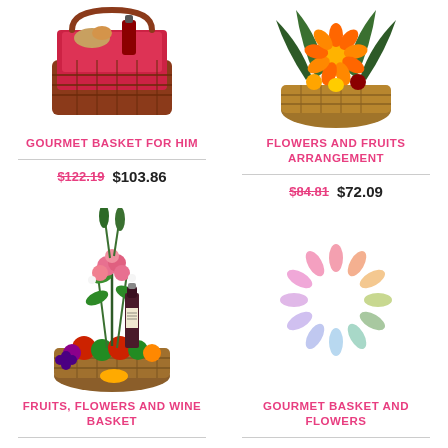[Figure (photo): Gourmet gift basket with red lining and assorted items]
GOURMET BASKET FOR HIM
$122.19  $103.86
[Figure (photo): Flowers and fruits arrangement in a basket with tropical flowers]
FLOWERS AND FRUITS ARRANGEMENT
$84.81  $72.09
[Figure (photo): Fruits, flowers and wine basket arrangement with roses and a wine bottle]
FRUITS, FLOWERS AND WINE BASKET
$127.94  $108.75
[Figure (other): Loading spinner animation placeholder]
GOURMET BASKET AND FLOWERS
$100.63  $85.53